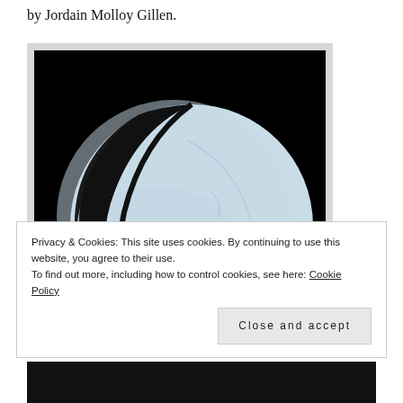by Jordain Molloy Gillen.
[Figure (photo): Artwork photo on dark background showing a light blue ceramic or painted crescent moon face with closed eyes, against a black background. The circular form has a face with two closed/sleeping eyes rendered in black lines.]
Privacy & Cookies: This site uses cookies. By continuing to use this website, you agree to their use.
To find out more, including how to control cookies, see here: Cookie Policy
Close and accept